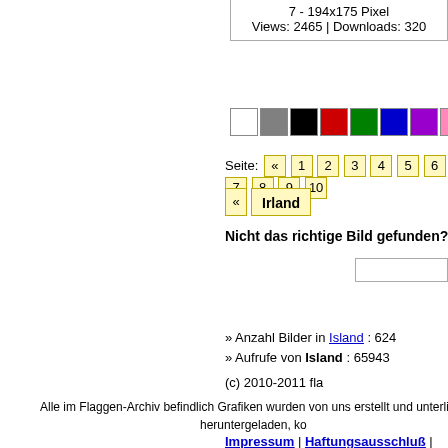7 - 194x175 Pixel
Views: 2465 | Downloads: 320
[Figure (infographic): Row of color swatches: white, gray, black, red, green, blue, purple, pink, orange, yellow]
Seite: « 1 2 3 4 5 6 7 8 9 10
« Irland
Nicht das richtige Bild gefunden?! Hier g
» Anzahl Bilder in Island : 624
» Aufrufe von Island : 65943
(c) 2010-2011 fla
Alle im Flaggen-Archiv befindlich Grafiken wurden von uns erstellt und unterlie heruntergeladen, ko
Impressum | Haftungsausschluß |